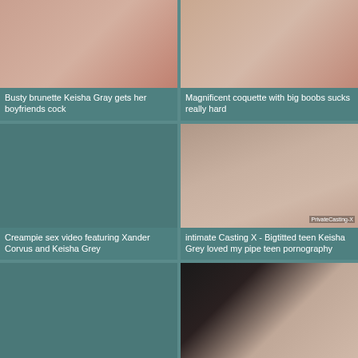[Figure (photo): Thumbnail image - flesh tones, top row left]
Busty brunette Keisha Gray gets her boyfriends cock
[Figure (photo): Thumbnail image - flesh tones, top row right]
Magnificent coquette with big boobs sucks really hard
[Figure (photo): Thumbnail placeholder - teal/dark, middle row left]
Creampie sex video featuring Xander Corvus and Keisha Grey
[Figure (photo): Thumbnail image - woman lying on bed, PrivateCasting-X watermark, middle row right]
intimate Casting X - Bigtitted teen Keisha Grey loved my pipe teen pornography
[Figure (photo): Thumbnail placeholder - teal/dark, bottom row left]
YOUNG PORN GIRLS TURNED INTO
[Figure (photo): Thumbnail image - woman with glasses, bottom row right]
Beautiful breasty student Keisha Grey